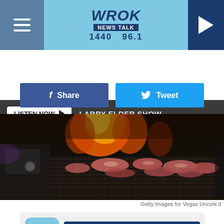[Figure (screenshot): WROK News Talk 1440 96.1 radio station website header with hamburger menu, logo, and play button on light blue background]
LISTEN NOW ▶ LARRY ELDER SHOW
[Figure (other): Facebook Share button (dark blue) and Twitter Tweet button (light blue)]
[Figure (photo): Steaks cooking on a grill with flames in the background - Getty Images for Vegas Uncork'd]
Getty Images for Vegas Uncork'd
[Figure (other): WROK mobile app advertisement banner with logo and GET OUR FREE MOBILE APP button]
After all, counting the most recent feature a couple of